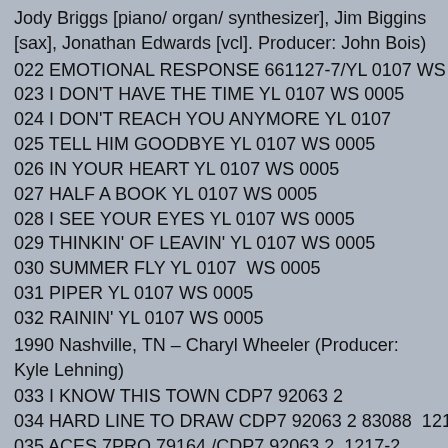Jody Briggs [piano/ organ/ synthesizer], Jim Biggins [sax], Jonathan Edwards [vcl]. Producer: John Bois)
022 EMOTIONAL RESPONSE 661127-7/YL 0107 WS 0005
023 I DON'T HAVE THE TIME YL 0107 WS 0005
024 I DON'T REACH YOU ANYMORE YL 0107
025 TELL HIM GOODBYE YL 0107 WS 0005
026 IN YOUR HEART YL 0107 WS 0005
027 HALF A BOOK YL 0107 WS 0005
028 I SEE YOUR EYES YL 0107 WS 0005
029 THINKIN' OF LEAVIN' YL 0107 WS 0005
030 SUMMER FLY YL 0107  WS 0005
031 PIPER YL 0107 WS 0005
032 RAININ' YL 0107 WS 0005
1990 Nashville, TN – Charyl Wheeler (Producer: Kyle Lehning)
033 I KNOW THIS TOWN CDP7 92063 2
034 HARD LINE TO DRAW CDP7 92063 2 83088  1217-2
035 ACES 7PRO 79164 /CDP7 92063 2  1217-2
036 ESTATE SALE CDP7 92063 2
037 DON'T WANNA CDP7 92063 2   1217-2
038 NORTHERN GIRL CDP7 92063 2  1217-2
039 SOON AS I FIND MY VOICE CDP7 92063 2